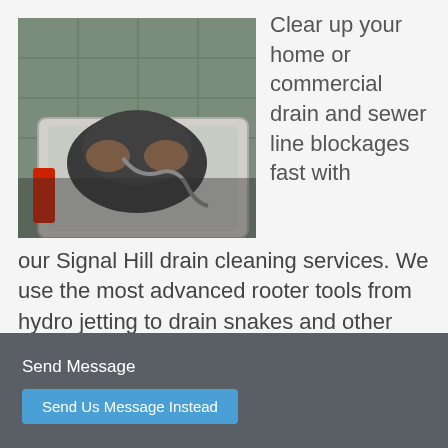[Figure (photo): A plumber or technician crouching over a bathtub or basin, handling a drain snake or auger cable tool, wearing dark work clothes. Green tiled wall visible in background, red equipment partially visible.]
Clear up your home or commercial drain and sewer line blockages fast with our Signal Hill drain cleaning services. We use the most advanced rooter tools from hydro jetting to drain snakes and other technology, that can handle the most difficult of problems
Send Message
Send Us Message Instead